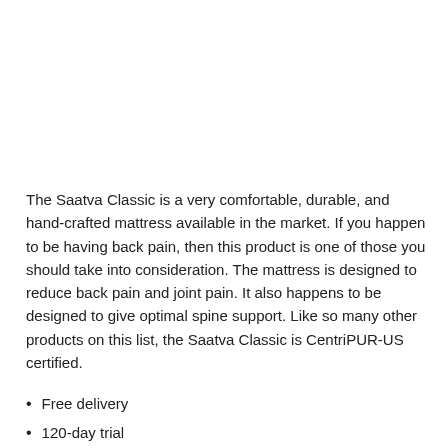The Saatva Classic is a very comfortable, durable, and hand-crafted mattress available in the market. If you happen to be having back pain, then this product is one of those you should take into consideration. The mattress is designed to reduce back pain and joint pain. It also happens to be designed to give optimal spine support. Like so many other products on this list, the Saatva Classic is CentriPUR-US certified.
Free delivery
120-day trial